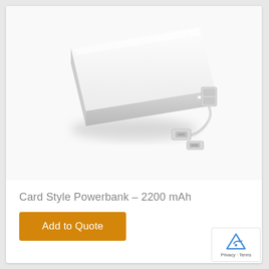[Figure (photo): Card-style slim white powerbank with built-in lightning and micro-USB cables, photographed at an angle on white background]
Card Style Powerbank – 2200 mAh
Add to Quote